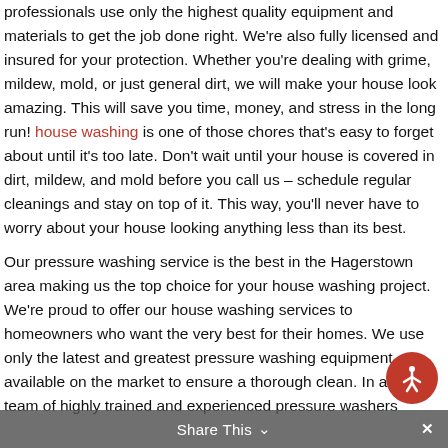professionals use only the highest quality equipment and materials to get the job done right. We're also fully licensed and insured for your protection. Whether you're dealing with grime, mildew, mold, or just general dirt, we will make your house look amazing. This will save you time, money, and stress in the long run! house washing is one of those chores that's easy to forget about until it's too late. Don't wait until your house is covered in dirt, mildew, and mold before you call us – schedule regular cleanings and stay on top of it. This way, you'll never have to worry about your house looking anything less than its best.

Our pressure washing service is the best in the Hagerstown area making us the top choice for your house washing project. We're proud to offer our house washing services to homeowners who want the very best for their homes. We use only the latest and greatest pressure washing equipment available on the market to ensure a thorough clean. In ad... our team of highly trained and experienced pressure washers
Share This